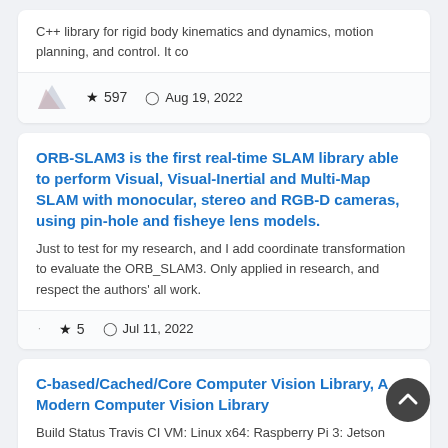C++ library for rigid body kinematics and dynamics, motion planning, and control. It co
★ 597   🕐 Aug 19, 2022
ORB-SLAM3 is the first real-time SLAM library able to perform Visual, Visual-Inertial and Multi-Map SLAM with monocular, stereo and RGB-D cameras, using pin-hole and fisheye lens models.
Just to test for my research, and I add coordinate transformation to evaluate the ORB_SLAM3. Only applied in research, and respect the authors' all work.
★ 5   🕐 Jul 11, 2022
C-based/Cached/Core Computer Vision Library, A Modern Computer Vision Library
Build Status Travis CI VM: Linux x64: Raspberry Pi 3: Jetson TX2: Backstory: I set to build ccv with a minimalism inspiration. That